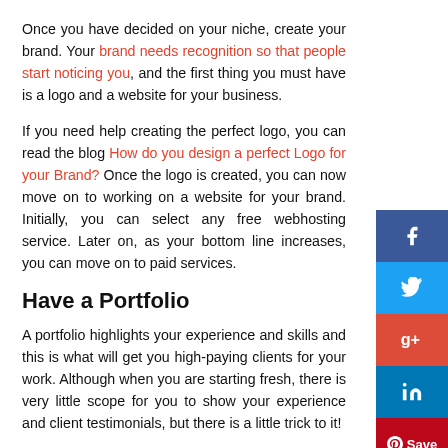Once you have decided on your niche, create your brand. Your brand needs recognition so that people start noticing you, and the first thing you must have is a logo and a website for your business.
If you need help creating the perfect logo, you can read the blog How do you design a perfect Logo for your Brand? Once the logo is created, you can now move on to working on a website for your brand. Initially, you can select any free webhosting service. Later on, as your bottom line increases, you can move on to paid services.
Have a Portfolio
A portfolio highlights your experience and skills and this is what will get you high-paying clients for your work. Although when you are starting fresh, there is very little scope for you to show your experience and client testimonials, but there is a little trick to it!
[Figure (other): Social media share buttons sidebar: Facebook, Twitter, Google+, LinkedIn, Pinterest Save, Reddit]